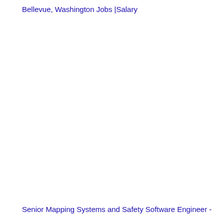Bellevue, Washington Jobs |Salary
Senior Mapping Systems and Safety Software Engineer -